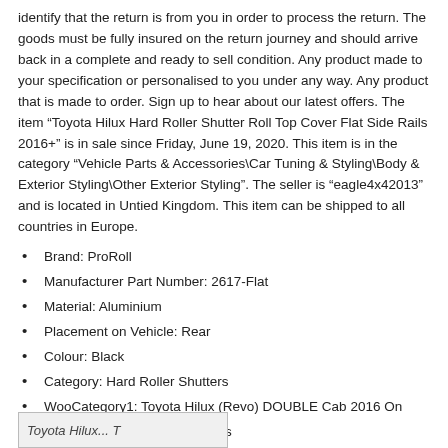identify that the return is from you in order to process the return. The goods must be fully insured on the return journey and should arrive back in a complete and ready to sell condition. Any product made to your specification or personalised to you under any way. Any product that is made to order. Sign up to hear about our latest offers. The item “Toyota Hilux Hard Roller Shutter Roll Top Cover Flat Side Rails 2016+” is in sale since Friday, June 19, 2020. This item is in the category “Vehicle Parts & Accessories\Car Tuning & Styling\Body & Exterior Styling\Other Exterior Styling”. The seller is “eagle4x42013” and is located in Untied Kingdom. This item can be shipped to all countries in Europe.
Brand: ProRoll
Manufacturer Part Number: 2617-Flat
Material: Aluminium
Placement on Vehicle: Rear
Colour: Black
Category: Hard Roller Shutters
WooCategory1: Toyota Hilux (Revo) DOUBLE Cab 2016 On
Website Filter: Tonneau Covers
[Figure (other): Partial footer box visible at bottom of page, appears to be a label or navigation element with italic text.]